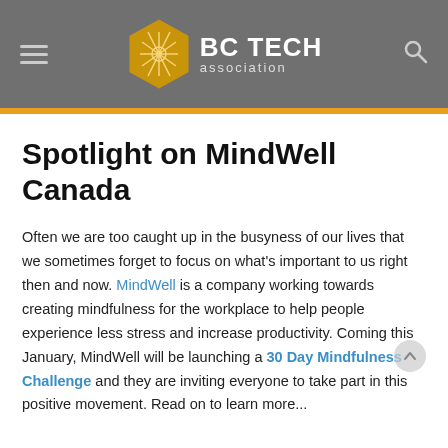BC TECH association
Spotlight on MindWell Canada
Often we are too caught up in the busyness of our lives that we sometimes forget to focus on what's important to us right then and now. MindWell is a company working towards creating mindfulness for the workplace to help people experience less stress and increase productivity. Coming this January, MindWell will be launching a 30 Day Mindfulness Challenge and they are inviting everyone to take part in this positive movement. Read on to learn more...